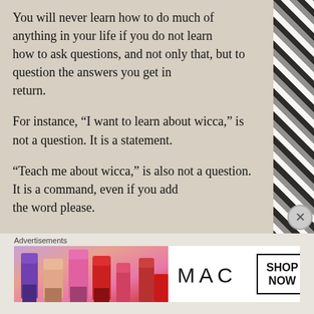You will never learn how to do much of anything in your life if you do not learn how to ask questions, and not only that, but to question the answers you get in return.
For instance, “I want to learn about wicca,” is not a question. It is a statement.
“Teach me about wicca,” is also not a question. It is a command, even if you add the word please.
Think about what you really want to ask. “Can you teach me
Advertisements
[Figure (photo): MAC cosmetics advertisement banner showing colorful lipsticks on the left, MAC logo in the center, and a SHOP NOW box on the right.]